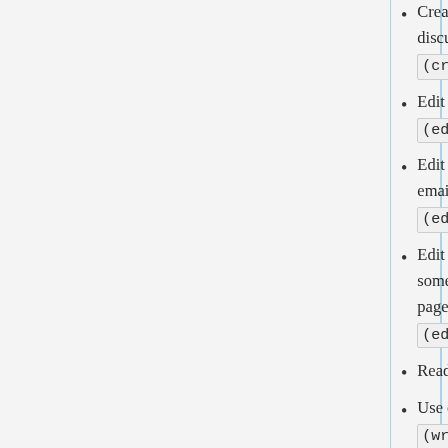Create pages (which also allows creating discussion pages) (createpage)
Edit your own preferences (editmyoptions)
Edit your own private data such as email address, real name... (editmyprivatein...)
Edit your own watchlist... some actions will still affect pages even without this... (editmywatchlist...)
Read pages (read)
Use of the write API (writeapi)
View your own private data (e.g. email address, re...) (viewmyprivatein...)
View your own watchli...